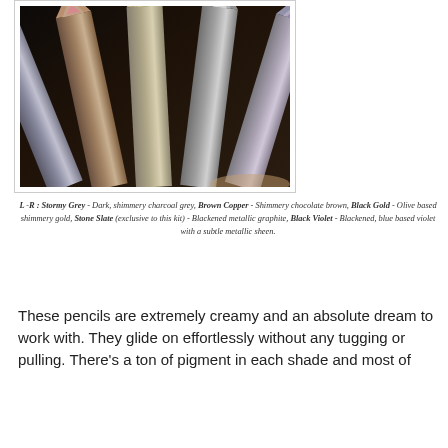[Figure (photo): Five metallic eye/lip pencils fanned out against a dark background, showing their tips pointing upward. Colors visible are purple/grey, pink/rose, champagne/gold, graphite/silver, and mauve/violet from left to right.]
L -R : Stormy Grey - Dark, shimmery charcoal grey, Brown Copper - Shimmery chocolate brown, Black Gold - Olive based shimmery gold, Stone Slate (exclusive to this kit) - Blackened metallic graphite, Black Violet - Blackened, blue based violet with a subtle metallic sheen.
These pencils are extremely creamy and an absolute dream to work with. They glide on effortlessly without any tugging or pulling. There's a ton of pigment in each shade and most of